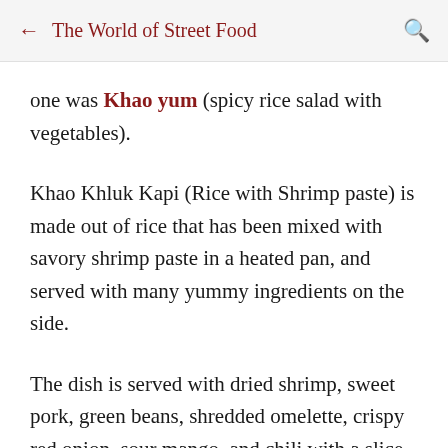The World of Street Food
one was Khao yum (spicy rice salad with vegetables).
Khao Khluk Kapi (Rice with Shrimp paste) is made out of rice that has been mixed with savory shrimp paste in a heated pan, and served with many yummy ingredients on the side.
The dish is served with dried shrimp, sweet pork, green beans, shredded omelette, crispy red onion, sour mango, and chili with a slice of lime.